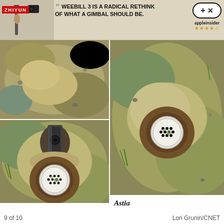[Figure (photo): Advertisement banner for Zhiyun Weebill 3 gimbal showing camera gimbal and quote 'Weebill 3 is a radical rethink of what a gimbal should be.' with appleinsider 4-star rating]
[Figure (photo): Top-left photo: aerial/overhead view of sandy ground with drain fixture]
[Figure (photo): Top-right and middle-right tall photo: close-up of circular drain cover with black dot pattern on sandy/mossy surface]
[Figure (photo): Bottom-left photo: close-up of metal drain slot/pipe fitting on sandy/mossy ceramic surface with circular drain cover visible below]
Astia
9 of 10
Lori Grunin/CNET